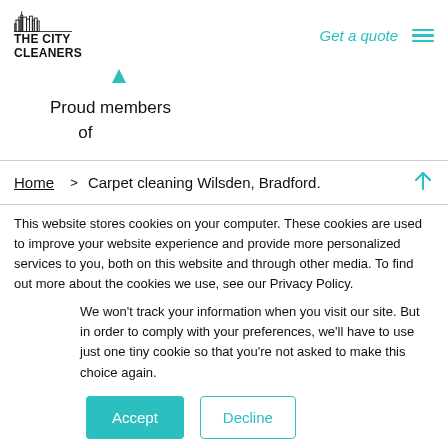[Figure (logo): The City Cleaners logo with skyline illustration and bold text]
Get a quote
[Figure (illustration): Hamburger menu icon (three teal horizontal lines)]
[Figure (illustration): Small teal triangle/arrow pointing upward]
Proud members of
Home > Carpet cleaning Wilsden, Bradford.
This website stores cookies on your computer. These cookies are used to improve your website experience and provide more personalized services to you, both on this website and through other media. To find out more about the cookies we use, see our Privacy Policy.
We won't track your information when you visit our site. But in order to comply with your preferences, we'll have to use just one tiny cookie so that you're not asked to make this choice again.
Accept
Decline